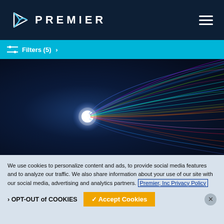PREMIER
Filters (5) >
[Figure (photo): Abstract colorful light streaks radiating from a bright central point on a dark blue background, creating a vortex/tunnel effect with multicolored lines (blue, green, red, yellow, purple).]
We use cookies to personalize content and ads, to provide social media features and to analyze our traffic. We also share information about your use of our site with our social media, advertising and analytics partners. Premier, Inc Privacy Policy
OPT-OUT of COOKIES
Accept Cookies